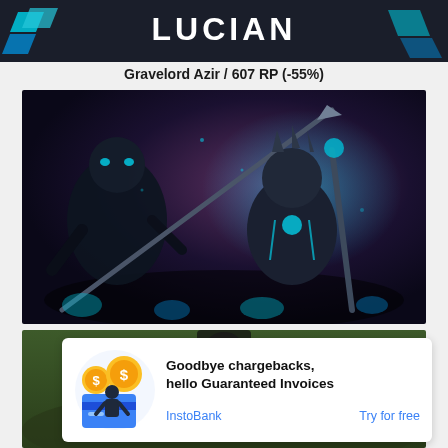[Figure (screenshot): Top banner with Lucian logo — blue chevron icon and 'LUCIAN' text on dark background]
Gravelord Azir / 607 RP (-55%)
[Figure (illustration): Gravelord Azir League of Legends skin splash art — dark fantasy armored figure with scythe and staff, teal glowing accents on black/purple background with ghostly underlings]
[Figure (screenshot): Partial game screenshot showing top portion of another champion skin]
[Figure (infographic): InstoBank advertisement overlay: illustration of person with credit card and dollar coin graphics. Text reads 'Goodbye chargebacks, hello Guaranteed Invoices'. Links: InstoBank | Try for free]